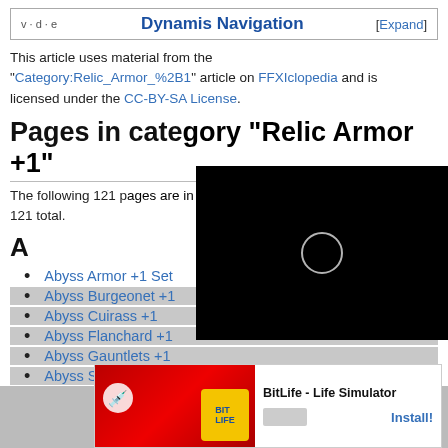Dynamis Navigation [Expand]
This article uses material from the "Category:Relic_Armor_%2B1" article on FFXIclopedia and is licensed under the CC-BY-SA License.
Pages in cate... +1"
The following 121 p... 121 total.
A
Abyss Armor +1 Set
Abyss Burgeonet +1
[partially hidden]
[partially hidden]
Abyss Gauntlets +1
Abys... +1
[Figure (screenshot): Black video overlay with loading circle in center]
[Figure (screenshot): Ad banner for BitLife - Life Simulator app with Install button]